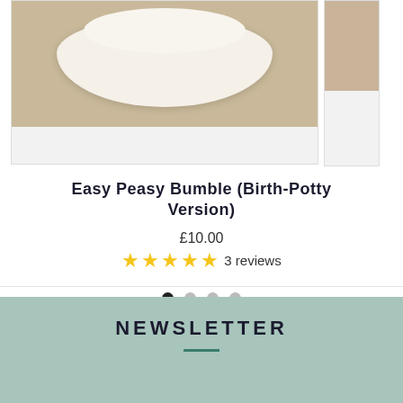[Figure (photo): Product image of a fluffy white diaper cover item on a wooden surface, shown in a card layout with a partially visible second card to the right]
Easy Peasy Bumble (Birth-Potty Version)
£10.00
★★★★★ 3 reviews
● ○ ○ ○ (pagination dots)
NEWSLETTER